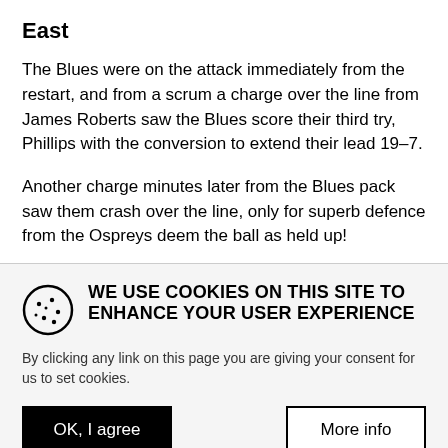East
The Blues were on the attack immediately from the restart, and from a scrum a charge over the line from James Roberts saw the Blues score their third try, Phillips with the conversion to extend their lead 19–7.
Another charge minutes later from the Blues pack saw them crash over the line, only for superb defence from the Ospreys deem the ball as held up!
WE USE COOKIES ON THIS SITE TO ENHANCE YOUR USER EXPERIENCE
By clicking any link on this page you are giving your consent for us to set cookies.